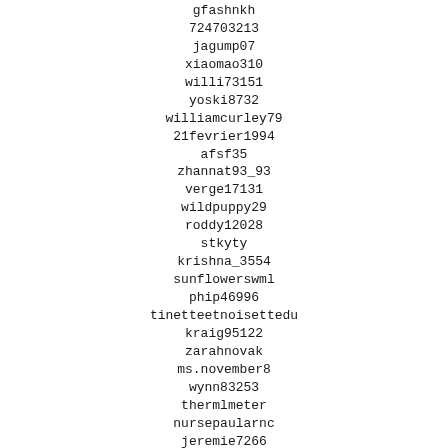gfashnkh
724703213
jagump07
xiaomao310
willi73151
yoski8732
williamcurley79
21fevrier1994
afsf35
zhannat93_93
verge17131
wildpuppy29
roddy12028
stkyty
krishna_3554
sunflowerswml
phip46996
tinetteetnoisettedu
kraig95122
zarahnovak
ms.november8
wynn83253
thermlmeter
nursepaularnc
jeremie7266
hornhajrdngooo
kinga.cica
agz26wcz5abizm1
lgrubich
diego87016